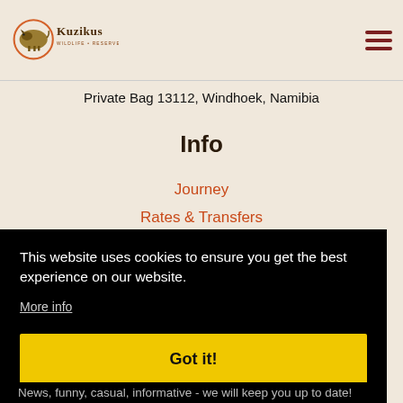[Figure (logo): Kuzikus Wildlife Reserve Namibia logo with rhino illustration in circular orange frame]
Private Bag 13112, Windhoek, Namibia
Info
Journey
Rates & Transfers
Booking & Payment
Catalog online
This website uses cookies to ensure you get the best experience on our website.
More info
Got it!
News, funny, casual, informative - we will keep you up to date!